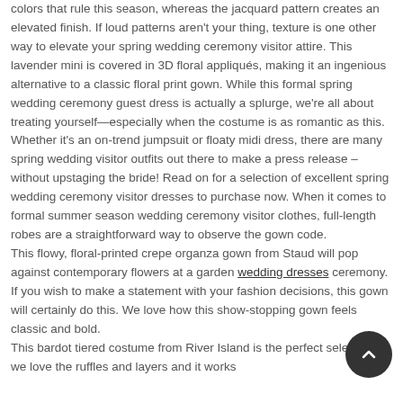colors that rule this season, whereas the jacquard pattern creates an elevated finish. If loud patterns aren't your thing, texture is one other way to elevate your spring wedding ceremony visitor attire. This lavender mini is covered in 3D floral appliqués, making it an ingenious alternative to a classic floral print gown. While this formal spring wedding ceremony guest dress is actually a splurge, we're all about treating yourself—especially when the costume is as romantic as this.
Whether it's an on-trend jumpsuit or floaty midi dress, there are many spring wedding visitor outfits out there to make a press release – without upstaging the bride! Read on for a selection of excellent spring wedding ceremony visitor dresses to purchase now. When it comes to formal summer season wedding ceremony visitor clothes, full-length robes are a straightforward way to observe the gown code.
This flowy, floral-printed crepe organza gown from Staud will pop against contemporary flowers at a garden wedding dresses ceremony. If you wish to make a statement with your fashion decisions, this gown will certainly do this. We love how this show-stopping gown feels classic and bold.
This bardot tiered costume from River Island is the perfect selection – we love the ruffles and layers and it works